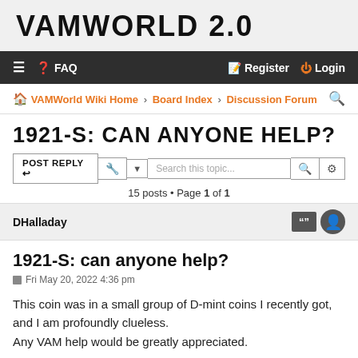VAMWORLD 2.0
≡ ❓ FAQ    🖊 Register ⏻ Login
🏠 VAMWorld Wiki Home ‹ Board Index ‹ Discussion Forum 🔍
1921-S: CAN ANYONE HELP?
POST REPLY ↩  🔧 ▼  Search this topic...  🔍  ⚙
15 posts • Page 1 of 1
DHalladay
1921-S: can anyone help?
Fri May 20, 2022 4:36 pm
This coin was in a small group of D-mint coins I recently got, and I am profoundly clueless.
Any VAM help would be greatly appreciated.

-- There are no cracks anywhere.